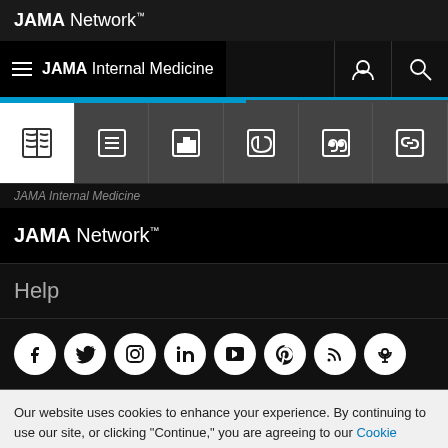JAMA Network™
JAMA Internal Medicine
[Figure (screenshot): Toolbar with icons: book, list, bar chart, paperclip, quote, link]
JAMA Internal Medicine
JAMA Network™
Help
[Figure (infographic): Social media icons: Facebook, Twitter, Instagram, LinkedIn, YouTube, Pinterest, RSS, Podcast]
Our website uses cookies to enhance your experience. By continuing to use our site, or clicking "Continue," you are agreeing to our Cookie Policy | Continue